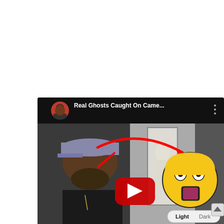[Figure (screenshot): YouTube video thumbnail screenshot showing a video titled 'Real Ghosts Caught On Came...' with a man in a cap reacting, a ghostly figure in a doorway highlighted by a red arrow, a shocked emoji face, a YouTube play button, and a Light/Dark toggle in the bottom right corner.]